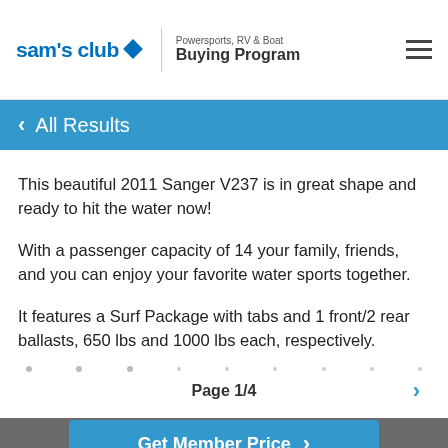sam's club ◇ | Powersports, RV & Boat Buying Program
< All Results
This beautiful 2011 Sanger V237 is in great shape and ready to hit the water now!
With a passenger capacity of 14 your family, friends, and you can enjoy your favorite water sports together.
It features a Surf Package with tabs and 1 front/2 rear ballasts, 650 lbs and 1000 lbs each, respectively.
Page 1/4
Get Member Price